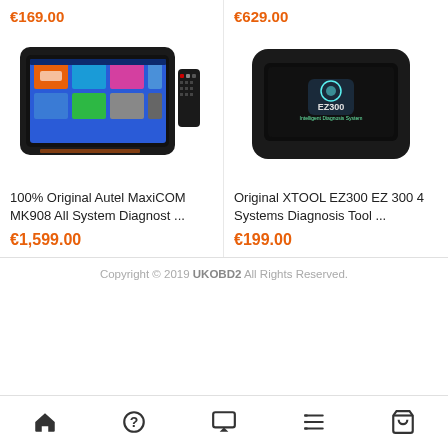€169.00
[Figure (photo): Autel MaxiCOM MK908 diagnostic tablet with OBD connector]
€629.00
[Figure (photo): XTOOL EZ300 EZ 300 handheld diagnostic tool, black]
100% Original Autel MaxiCOM MK908 All System Diagnost ...
€1,599.00
Original XTOOL EZ300 EZ 300 4 Systems Diagnosis Tool ...
€199.00
Copyright © 2019 UKOBD2 All Rights Reserved.